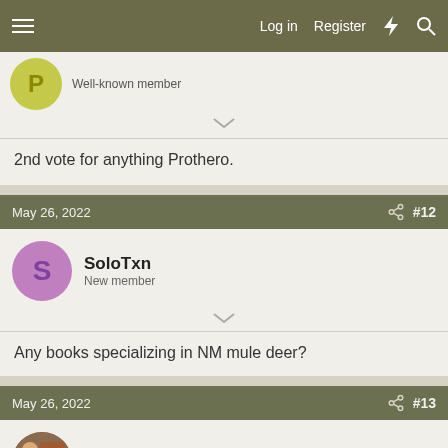Log in  Register
Well-known member
2nd vote for anything Prothero.
May 26, 2022  #12
SoloTxn
New member
Any books specializing in NM mule deer?
May 26, 2022  #13
TN2shot07
Well-known member